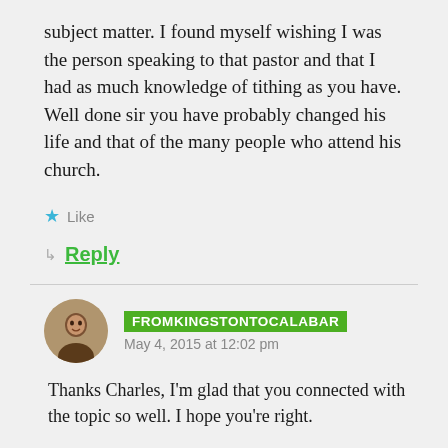subject matter. I found myself wishing I was the person speaking to that pastor and that I had as much knowledge of tithing as you have. Well done sir you have probably changed his life and that of the many people who attend his church.
★ Like
↳ Reply
FROMKINGSTONTOCALABAR — May 4, 2015 at 12:02 pm
Thanks Charles, I'm glad that you connected with the topic so well. I hope you're right.
★ Like